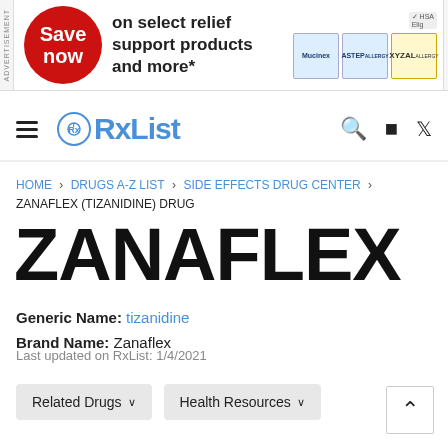[Figure (other): Advertisement banner: red circle with 'Save now' text, 'on select relief support products and more*', product images including Mucinex and Xyzal]
RxList navigation bar with hamburger menu, RxList logo, search icon, Facebook icon, Twitter icon
HOME > DRUGS A-Z LIST > SIDE EFFECTS DRUG CENTER > ZANAFLEX (TIZANIDINE) DRUG
ZANAFLEX
Generic Name: tizanidine
Brand Name: Zanaflex
Last updated on RxList: 1/4/2021
Related Drugs ∨   Health Resources ∨